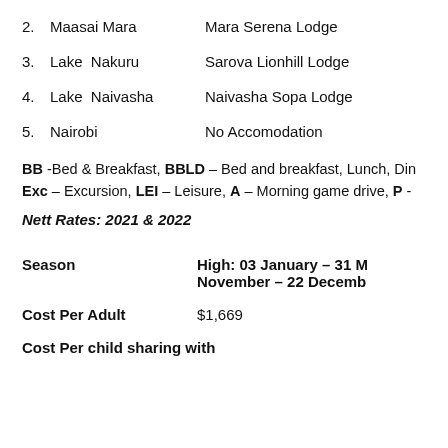2.  Maasai Mara    Mara Serena Lodge
3.  Lake Nakuru    Sarova Lionhill Lodge
4.  Lake Naivasha    Naivasha Sopa Lodge
5.  Nairobi    No Accomodation
BB -Bed & Breakfast, BBLD – Bed and breakfast, Lunch, Din Exc – Excursion, LEI – Leisure, A – Morning game drive, P -
Nett Rates: 2021 & 2022
| Season | High: 03 January – 31 M November – 22 Decemb |
| --- | --- |
| Cost Per Adult | $1,669 |
| Cost Per child sharing with |  |